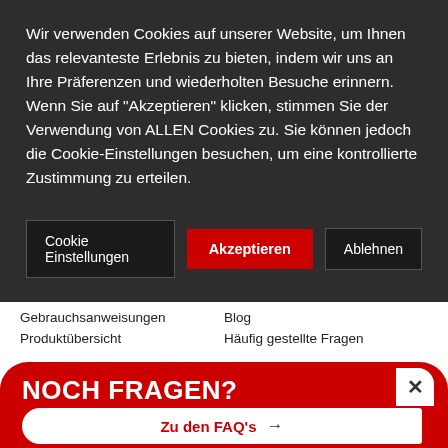Wir verwenden Cookies auf unserer Website, um Ihnen das relevanteste Erlebnis zu bieten, indem wir uns an Ihre Präferenzen und wiederholten Besuche erinnern. Wenn Sie auf "Akzeptieren" klicken, stimmen Sie der Verwendung von ALLEN Cookies zu. Sie können jedoch die Cookie-Einstellungen besuchen, um eine kontrollierte Zustimmung zu erteilen.
Cookie Einstellungen
Akzeptieren
Ablehnen
Gebrauchsanweisungen
Produktübersicht
Blog
Häufig gestellte Fragen
NOCH FRAGEN?
Zu den FAQ's →